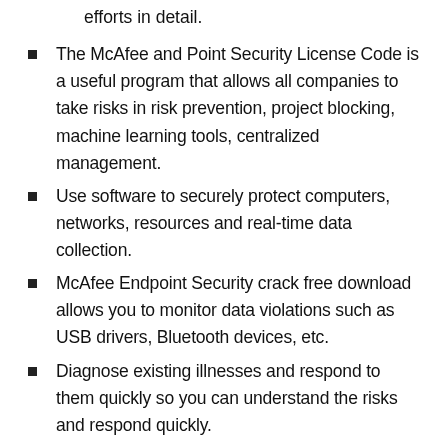efforts in detail.
The McAfee and Point Security License Code is a useful program that allows all companies to take risks in risk prevention, project blocking, machine learning tools, centralized management.
Use software to securely protect computers, networks, resources and real-time data collection.
McAfee Endpoint Security crack free download allows you to monitor data violations such as USB drivers, Bluetooth devices, etc.
Diagnose existing illnesses and respond to them quickly so you can understand the risks and respond quickly.
Mcafee crack uses three different components for complete protection: Risk Protection, Internet Rules and Network Protection.